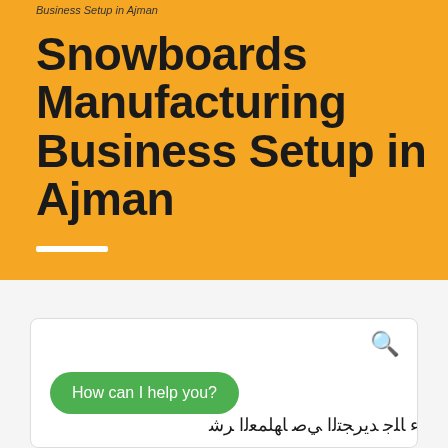Business Setup in Ajman
Snowboards Manufacturing Business Setup in Ajman
[Figure (screenshot): Chat widget with search icon, green chat bubble saying 'How can I help you?' and Arabic text below]
How can I help you?